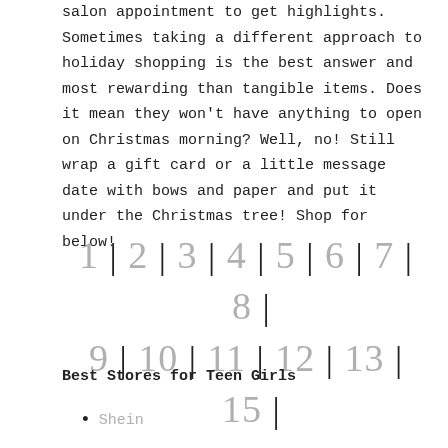salon appointment to get highlights. Sometimes taking a different approach to holiday shopping is the best answer and most rewarding than tangible items. Does it mean they won't have anything to open on Christmas morning? Well, no! Still wrap a gift card or a little message date with bows and paper and put it under the Christmas tree! Shop for below!
1 | 2 | 3 | 4 | 5 | 6 | 7 | 8 | 9 | 10 | 11 | 12 | 13 | 15 | 16 | 17
Best Stores for Teen Girls
Shein